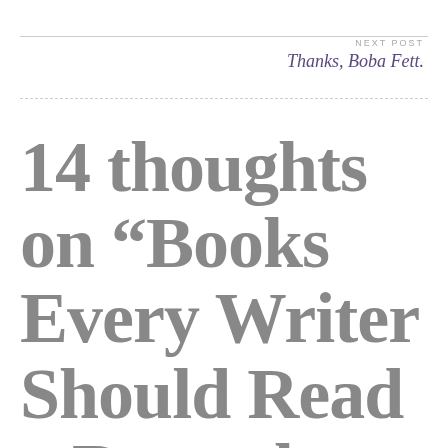NEXT POST
Thanks, Boba Fett.
14 thoughts on “Books Every Writer Should Read – December